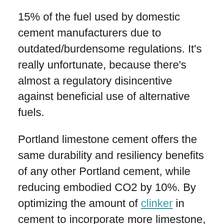15% of the fuel used by domestic cement manufacturers due to outdated/burdensome regulations. It's really unfortunate, because there's almost a regulatory disincentive against beneficial use of alternative fuels.
Portland limestone cement offers the same durability and resiliency benefits of any other Portland cement, while reducing embodied CO2 by 10%. By optimizing the amount of clinker in cement to incorporate more limestone, we can reduce the amount of energy (and associated emissions) used to heat clinker (the main ingredient in cement) and ultimately produce cement.
PLC isn't as widely used as it could be, and barriers for broad uptake seem to be just a case of institutional inertia. People tend to stick with what they know, but in this case, doing so misses a great opportunity.